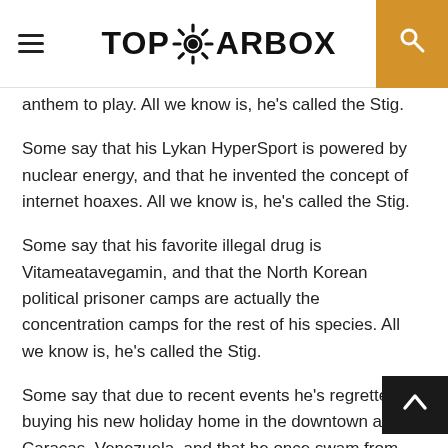TOPGEARBOX
anthem to play. All we know is, he's called the Stig.
Some say that his Lykan HyperSport is powered by nuclear energy, and that he invented the concept of internet hoaxes. All we know is, he's called the Stig.
Some say that his favorite illegal drug is Vitameatavegamin, and that the North Korean political prisoner camps are actually the concentration camps for the rest of his species. All we know is, he's called the Stig.
Some say that due to recent events he's regretted buying his new holiday home in the downtown area of Caracas, Venezuela, and that he once swam from Alaska to Russia by moonwalking on water. All we know is, he's called the Stig.